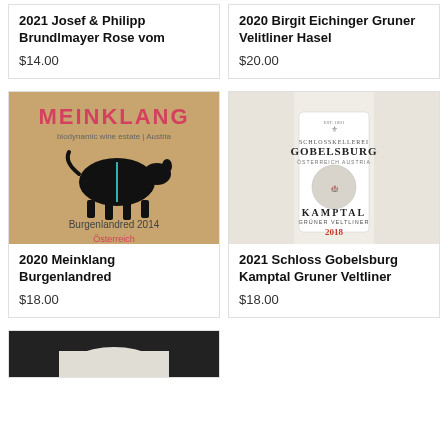2021 Josef & Philipp Brundlmayer Rose vom
$14.00
2020 Birgit Eichinger Gruner Velitliner Hasel
$20.00
[Figure (photo): Wine bottle with Meinklang label showing a black cow silhouette, text 'Burgenlandred 2014' and 'Osterreich']
2020 Meinklang Burgenlandred
$18.00
[Figure (photo): Wine bottle with Schlosskellerei Gobelsburg label, Kamptal Gruner Veltliner 2018]
2021 Schloss Gobelsburg Kamptal Gruner Veltliner
$18.00
[Figure (photo): Partial wine bottle photo at bottom of page]